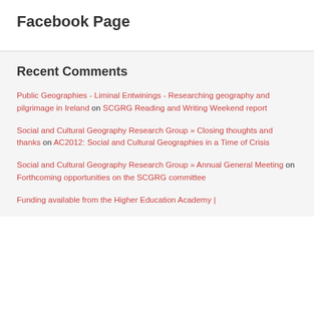Facebook Page
Recent Comments
Public Geographies - Liminal Entwinings - Researching geography and pilgrimage in Ireland on SCGRG Reading and Writing Weekend report
Social and Cultural Geography Research Group » Closing thoughts and thanks on AC2012: Social and Cultural Geographies in a Time of Crisis
Social and Cultural Geography Research Group » Annual General Meeting on Forthcoming opportunities on the SCGRG committee
Funding available from the Higher Education Academy |